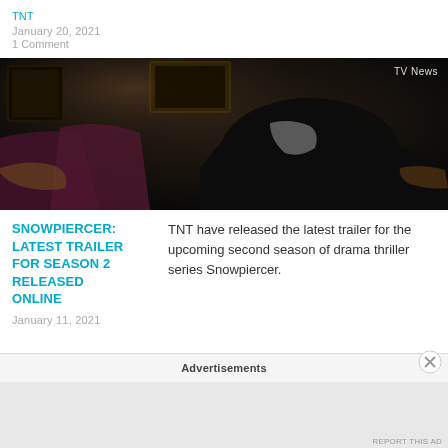TNT
January 20, 2021
1 Comment
[Figure (photo): Dark scene from Snowpiercer TV show with a man in formal attire reclining, with 'TV News' label in top right corner]
SNOWPIERCER: LATEST TRAILER FOR SEASON 2 RELEASED ONLINE
TNT have released the latest trailer for the upcoming second season of drama thriller series Snowpiercer.
January 11, 2021
Advertisements